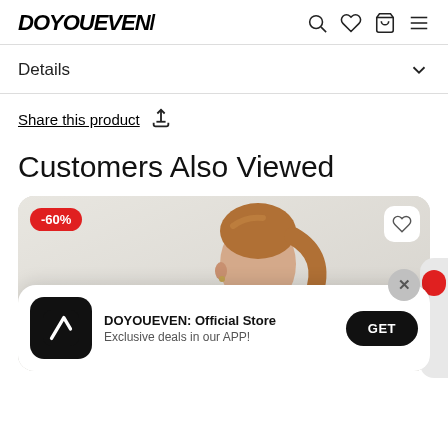DOYOUEVEN/
Details
Share this product
Customers Also Viewed
[Figure (photo): Product card showing a woman with a ponytail wearing athletic wear, with a -60% discount badge and a heart/wishlist button]
DOYOUEVEN: Official Store
Exclusive deals in our APP!